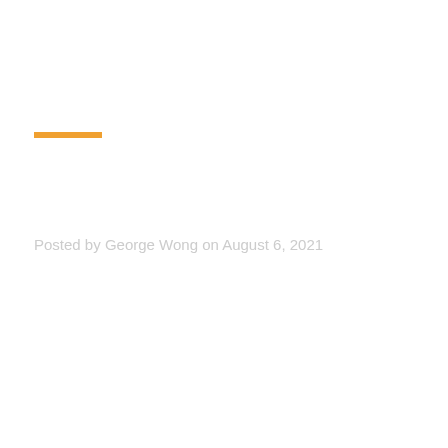Posted by George Wong on August 6, 2021